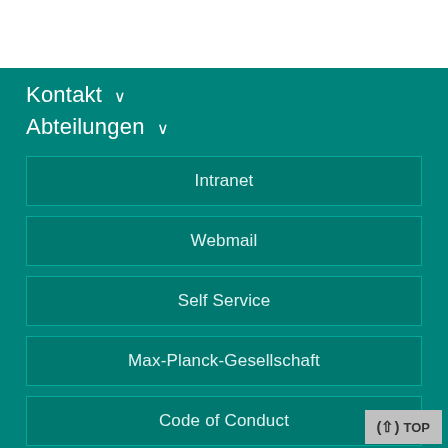Kontakt ∨
Abteilungen ∨
Intranet
Webmail
Self Service
Max-Planck-Gesellschaft
Code of Conduct
Diskriminierungsschutz
RSS
(↑) TOP